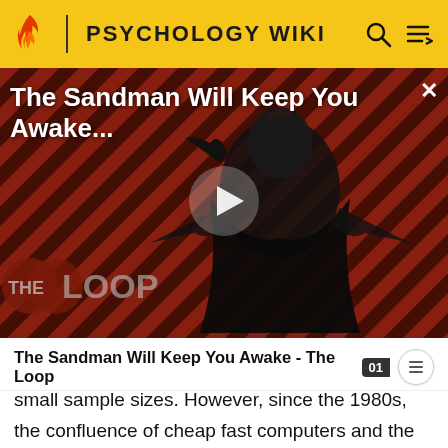PSYCHOLOGY WIKI
[Figure (screenshot): Video thumbnail for 'The Sandman Will Keep You Awake...' showing a dark-robed figure against a red and black striped background with The Loop watermark and a play button overlay]
The Sandman Will Keep You Awake - The Loop
small sample sizes. However, since the 1980s, the confluence of cheap fast computers and the development of new sophisticated path algorithms that are applicable